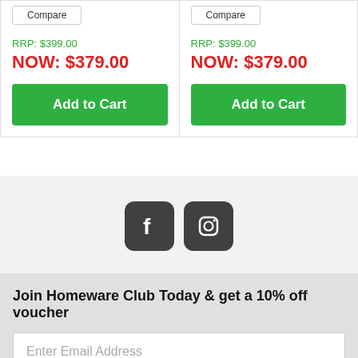Compare | Compare (buttons)
RRP: $399.00
NOW: $379.00
RRP: $399.00
NOW: $379.00
Add to Cart
Add to Cart
[Figure (infographic): Facebook and Instagram social media icons (dark rounded square buttons)]
Join Homeware Club Today & get a 10% off voucher
Enter Email Address
Subscribe